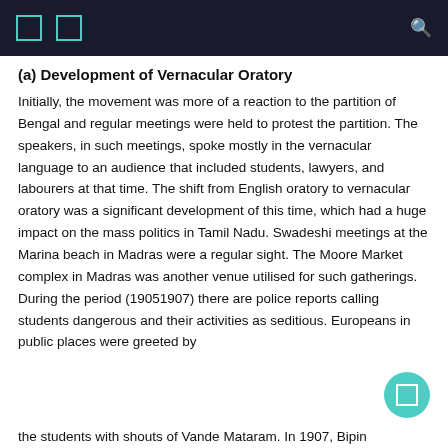(a) Development of Vernacular Oratory
Initially, the movement was more of a reaction to the partition of Bengal and regular meetings were held to protest the partition. The speakers, in such meetings, spoke mostly in the vernacular language to an audience that included students, lawyers, and labourers at that time. The shift from English oratory to vernacular oratory was a significant development of this time, which had a huge impact on the mass politics in Tamil Nadu. Swadeshi meetings at the Marina beach in Madras were a regular sight. The Moore Market complex in Madras was another venue utilised for such gatherings. During the period (19051907) there are police reports calling students dangerous and their activities as seditious. Europeans in public places were greeted by
the students with shouts of Vande Mataram. In 1907, Bipin